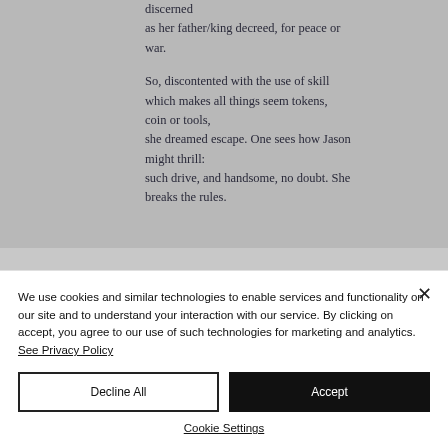discerned
as her father/king decreed, for peace or war.

So, discontented with the use of skill
which makes all things seem tokens,
coin or tools,
she dreamed escape. One sees how Jason
might thrill:
such drive, and handsome, no doubt. She
breaks the rules.
We use cookies and similar technologies to enable services and functionality on our site and to understand your interaction with our service. By clicking on accept, you agree to our use of such technologies for marketing and analytics. See Privacy Policy
Decline All
Accept
Cookie Settings